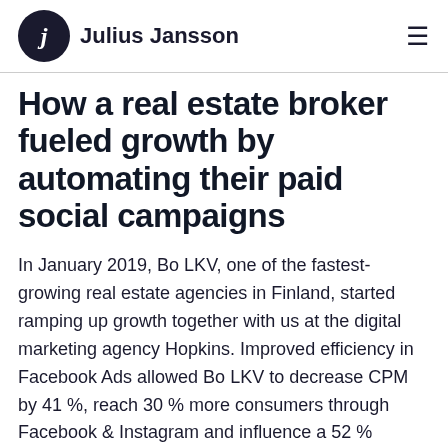Julius Jansson
How a real estate broker fueled growth by automating their paid social campaigns
In January 2019, Bo LKV, one of the fastest-growing real estate agencies in Finland, started ramping up growth together with us at the digital marketing agency Hopkins. Improved efficiency in Facebook Ads allowed Bo LKV to decrease CPM by 41 %, reach 30 % more consumers through Facebook & Instagram and influence a 52 % growth in total